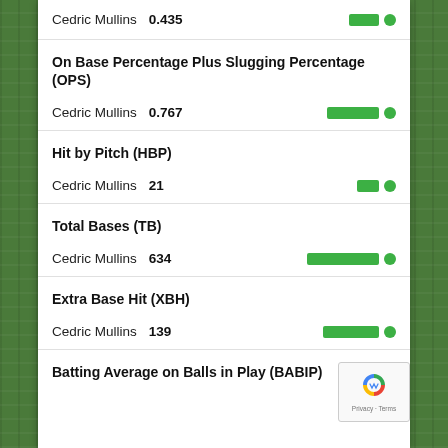Cedric Mullins   0.435
On Base Percentage Plus Slugging Percentage (OPS)
Cedric Mullins   0.767
Hit by Pitch (HBP)
Cedric Mullins   21
Total Bases (TB)
Cedric Mullins   634
Extra Base Hit (XBH)
Cedric Mullins   139
Batting Average on Balls in Play (BABIP)